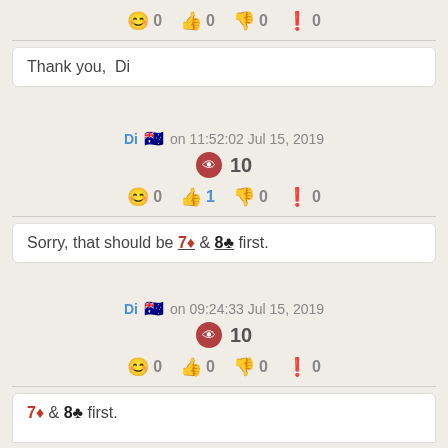😊 0  👍 0  👎 0  ❗ 0
Thank you, Di
Di 🇦🇺 on 11:52:02 Jul 15, 2019
10
😊 0  👍 1  👎 0  ❗ 0
Sorry, that should be 7♦ & 8♣ first.
Di 🇦🇺 on 09:24:33 Jul 15, 2019
10
😊 0  👍 0  👎 0  ❗ 0
partial content at bottom